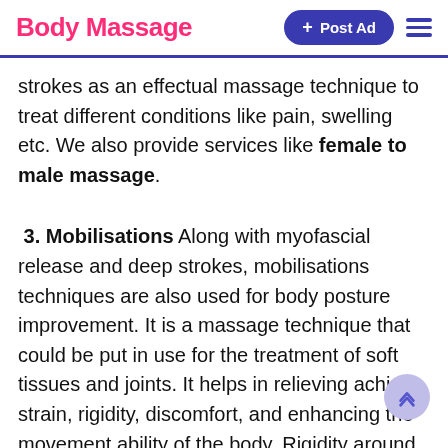Body Massage | + Post Ad
strokes as an effectual massage technique to treat different conditions like pain, swelling etc. We also provide services like female to male massage.
3. Mobilisations Along with myofascial release and deep strokes, mobilisations techniques are also used for body posture improvement. It is a massage technique that could be put in use for the treatment of soft tissues and joints. It helps in relieving aching strain, rigidity, discomfort, and enhancing the movement ability of the body. Rigidity around the backbone area is one of the main causes that people have hunched posture. This can lead to backache and pain in